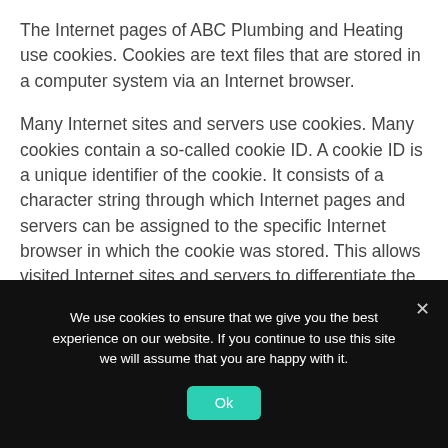The Internet pages of ABC Plumbing and Heating use cookies. Cookies are text files that are stored in a computer system via an Internet browser.
Many Internet sites and servers use cookies. Many cookies contain a so-called cookie ID. A cookie ID is a unique identifier of the cookie. It consists of a character string through which Internet pages and servers can be assigned to the specific Internet browser in which the cookie was stored. This allows visited Internet sites and servers to differentiate the individual browser of the data subject from other
We use cookies to ensure that we give you the best experience on our website. If you continue to use this site we will assume that you are happy with it.